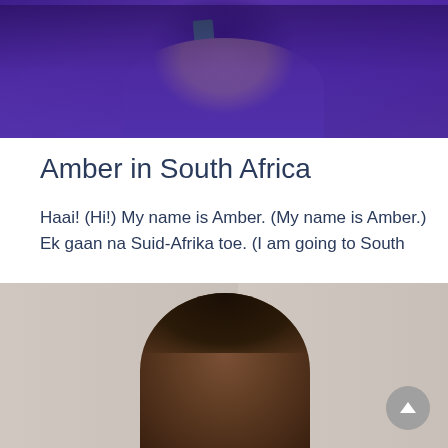[Figure (photo): Person wearing a purple graduation robe with a green accent collar, partially visible at top of page]
Amber in South Africa
Haai! (Hi!) My name is Amber. (My name is Amber.) Ek gaan na Suid-Afrika toe. (I am going to South
Astrid in Costa Rica
Hello! My name is Astrid and this September I will be going to Turrialba, Costa Rica to do an
[Figure (photo): Person with dark hair partially visible at bottom of page, outdoor setting with beige/tan background]